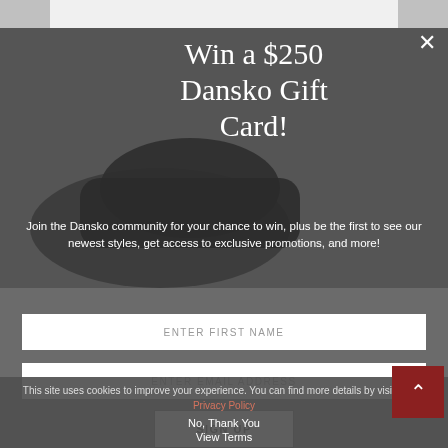Win a $250 Dansko Gift Card!
Join the Dansko community for your chance to win, plus be the first to see our newest styles, get access to exclusive promotions, and more!
ENTER FIRST NAME
ENTER EMAIL ADDRESS
SIGN UP
No, Thank You
View Terms
This site uses cookies to improve your experience. You can find more details by visiting our Privacy Policy
OK